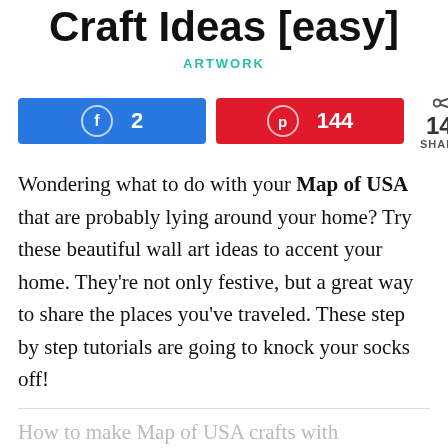Craft Ideas [easy]
ARTWORK
2  144  146 SHARES
Wondering what to do with your Map of USA that are probably lying around your home? Try these beautiful wall art ideas to accent your home. They're not only festive, but a great way to share the places you've traveled. These step by step tutorials are going to knock your socks off!
How to make Map of USA crafts with